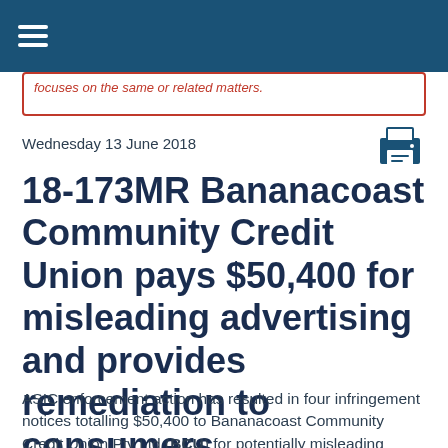focuses on the same or related matters.
Wednesday 13 June 2018
18-173MR Bananacoast Community Credit Union pays $50,400 for misleading advertising and provides remediation to consumers
ASIC enforcement action has resulted in four infringement notices totalling $50,400 to Bananacoast Community Credit Union Pty Ltd (BCU) for potentially misleading